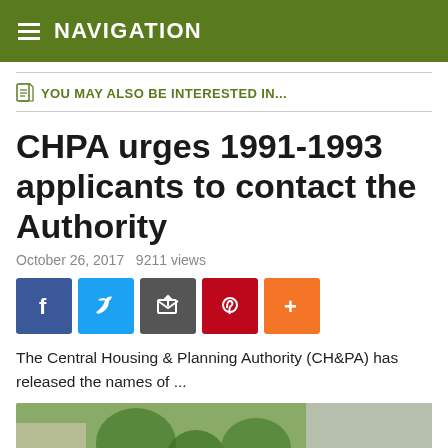NAVIGATION
YOU MAY ALSO BE INTERESTED IN...
CHPA urges 1991-1993 applicants to contact the Authority
October 26, 2017   9211 views
[Figure (infographic): Social sharing buttons: Facebook, Twitter, Email/Share, Pinterest, More (+)]
The Central Housing & Planning Authority (CH&PA) has released the names of ...
[Figure (photo): Group photo of people outdoors, possibly a housing authority event. A man in green shirt is handing a document to a woman, with other people gathered around.]